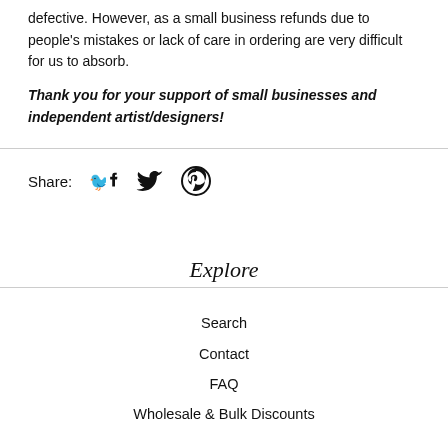defective. However, as a small business refunds due to people's mistakes or lack of care in ordering are very difficult for us to absorb.
Thank you for your support of small businesses and independent artist/designers!
Share: [Facebook icon] [Twitter icon] [Pinterest icon]
Explore
Search
Contact
FAQ
Wholesale & Bulk Discounts